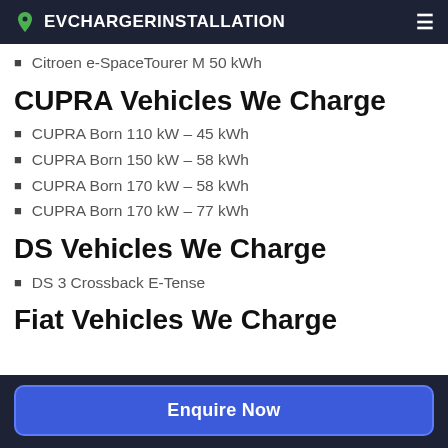EVCHARGERINSTALLATION
Citroen e-SpaceTourer M 50 kWh
CUPRA Vehicles We Charge
CUPRA Born 110 kW – 45 kWh
CUPRA Born 150 kW – 58 kWh
CUPRA Born 170 kW – 58 kWh
CUPRA Born 170 kW – 77 kWh
DS Vehicles We Charge
DS 3 Crossback E-Tense
Fiat Vehicles We Charge
Enquire Now